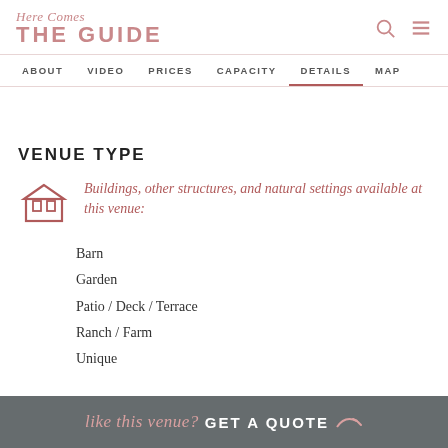Here Comes THE GUIDE
ABOUT  VIDEO  PRICES  CAPACITY  DETAILS  MAP
VENUE TYPE
Buildings, other structures, and natural settings available at this venue:
Barn
Garden
Patio / Deck / Terrace
Ranch / Farm
Unique
like this venue? GET A QUOTE